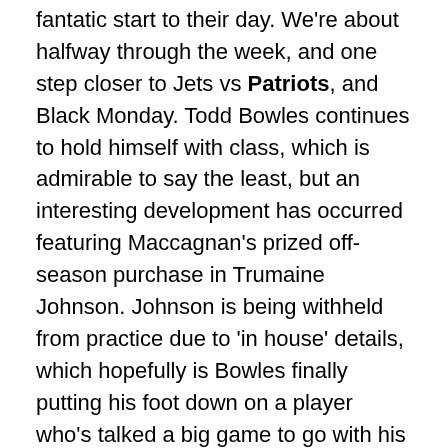fantatic start to their day. We're about halfway through the week, and one step closer to Jets vs Patriots, and Black Monday. Todd Bowles continues to hold himself with class, which is admirable to say the least, but an interesting development has occurred featuring Maccagnan's prized off-season purchase in Trumaine Johnson. Johnson is being withheld from practice due to 'in house' details, which hopefully is Bowles finally putting his foot down on a player who's talked a big game to go with his price tag, but his play has been replacement level at best. Also, for people wondering about Robby Anderson, reports are that he's been focusing hard on expanding his route tree and creating chemistry with Sam Darnold. Hopefully this isn't something that happens in a contract year, but something that can be sustained for years to come. With that being said, here are your daily links for the